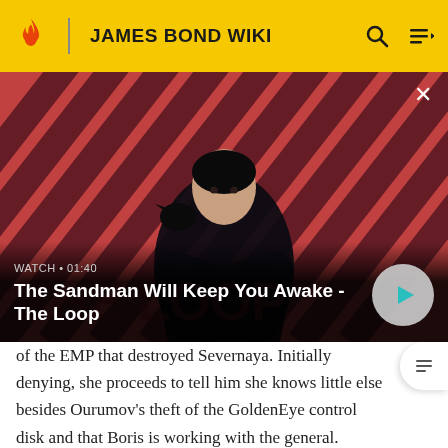JAMES BOND WIKI
[Figure (screenshot): Video thumbnail showing a dark-caped male figure with a raven on his shoulder against a red-and-dark diagonal striped background. Title reads 'The Sandman Will Keep You Awake - The Loop'. Watch label shows '01:40'. A circular play button appears on the right.]
of the EMP that destroyed Severnaya. Initially denying, she proceeds to tell him she knows little else besides Ourumov's theft of the GoldenEye control disk and that Boris is working with the general. Minister Mishkin then walks in the room and threatens Bond with execution for terrorism after supposedly stealing the Eurocopter and